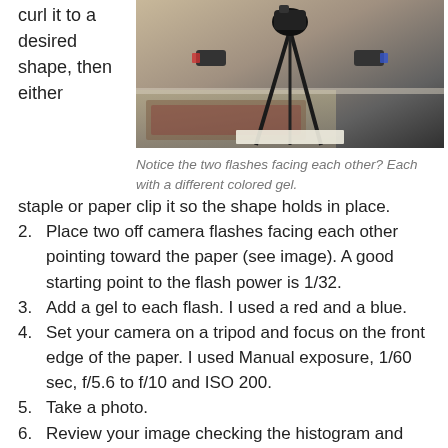curl it to a desired shape, then either staple or paper clip it so the shape holds in place.
[Figure (photo): A camera on a tripod positioned over paper, with two off-camera flashes facing each other, each with a different colored gel.]
Notice the two flashes facing each other? Each with a different colored gel.
Place two off camera flashes facing each other pointing toward the paper (see image). A good starting point to the flash power is 1/32.
Add a gel to each flash. I used a red and a blue.
Set your camera on a tripod and focus on the front edge of the paper. I used Manual exposure, 1/60 sec, f/5.6 to f/10 and ISO 200.
Take a photo.
Review your image checking the histogram and composition. Adjust camera settings as needed.
Now, modify your shape or change gel colors. The